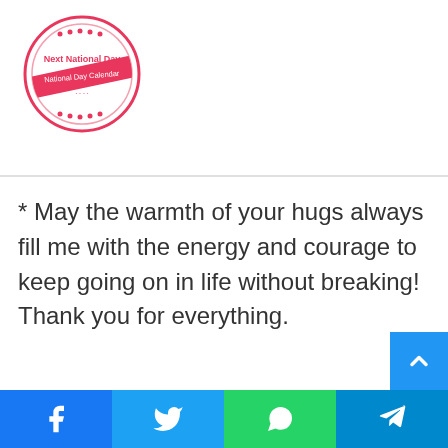[Figure (logo): Next National Day circular logo with red and pink colors, text 'Next National Day' and 'National Day Calendar']
* May the warmth of your hugs always fill me with the energy and courage to keep going on in life without breaking! Thank you for everything.